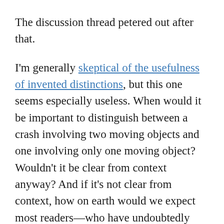The discussion thread petered out after that.
I'm generally skeptical of the usefulness of invented distinctions, but this one seems especially useless. When would it be important to distinguish between a crash involving two moving objects and one involving only one moving object? Wouldn't it be clear from context anyway? And if it's not clear from context, how on earth would we expect most readers—who have undoubtedly never heard of this journalistic shibboleth—to pick up on it? Should we avoid using words like crash or struck because they're ambiguous in the same way—because they